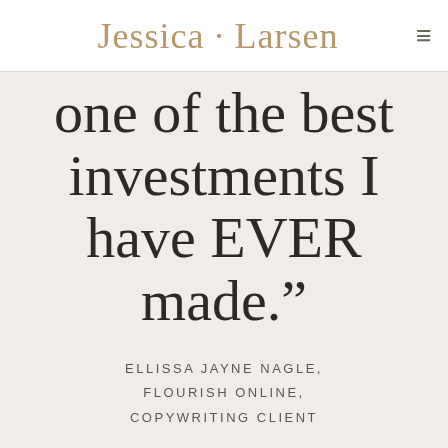Jessica · Larsen
one of the best investments I have EVER made.”
ELLISSA JAYNE NAGLE,
FLOURISH ONLINE,
COPYWRITING CLIENT
READ THE REVIEWS